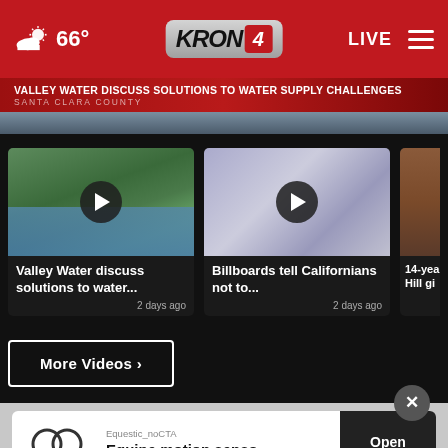66° KRON 4 LIVE
VALLEY WATER DISCUSS SOLUTIONS TO WATER SUPPLY CHALLENGES
SANTA CLARA COUNTY
[Figure (screenshot): Video thumbnail showing a lake with trees — play button overlay]
Valley Water discuss solutions to water...
2 days ago
[Figure (screenshot): Video thumbnail showing billboards — play button overlay]
Billboards tell Californians not to...
2 days ago
[Figure (screenshot): Partial video thumbnail showing a person]
14-yea Hill gi
More Videos ›
[Figure (infographic): Advertisement banner: Equestic_noCTA — Equine motion senso — Open button. Close X button above.]